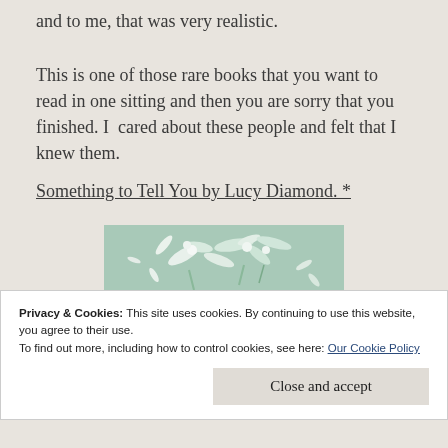and to me, that was very realistic.
This is one of those rare books that you want to read in one sitting and then you are sorry that you finished. I cared about these people and felt that I knew them.
Something to Tell You by Lucy Diamond. *
[Figure (photo): Book cover image of 'Something to Tell You' by Lucy Diamond, showing scattered white flowers on a mint/teal green background. The bottom of the image shows the word 'SOMETHING' in white bold text on a green background.]
Privacy & Cookies: This site uses cookies. By continuing to use this website, you agree to their use.
To find out more, including how to control cookies, see here: Our Cookie Policy
Close and accept